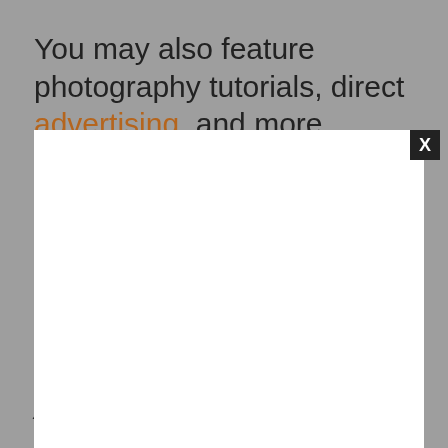You may also feature photography tutorials, direct advertising, and more.
[Figure (screenshot): A modal dialog overlay with a white content area and a black error message box reading: 'The media could not be loaded, either because the server or network failed or because the format is not supported.' with a large X icon. A close button (X) is shown in the top-right corner of the modal, and a small circular X button is also visible.]
Another easy way to make money with photography is to enter photo contests. Some of them have a substantial prize. Check out these photography